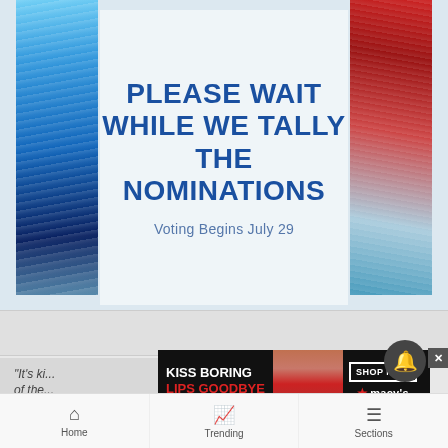[Figure (screenshot): Website screenshot showing a waiting page with ski resort photos on left and right, center text reading PLEASE WAIT WHILE WE TALLY THE NOMINATIONS with subtitle Voting Begins July 29]
PLEASE WAIT WHILE WE TALLY THE NOMINATIONS
Voting Begins July 29
[Figure (photo): Macy's advertisement banner: KISS BORING LIPS GOODBYE with red lips photo and SHOP NOW button]
“It’s ki... of the...
Home   Trending   Sections